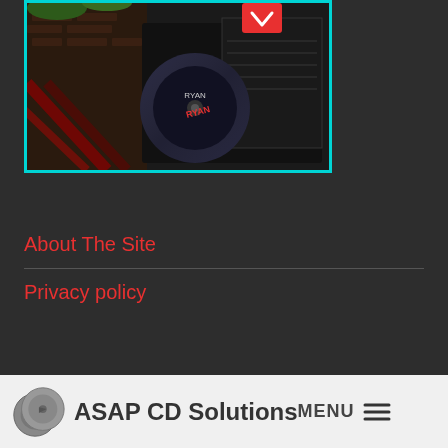[Figure (photo): Photo of CD album packaging with a disc labeled 'RYAN' displayed open, showing album artwork and booklets on a dark surface with a teal/cyan border around the image]
About The Site
Privacy policy
[Figure (logo): ASAP CD Solutions logo with two interlocked CDs icon on left and text 'ASAP CD Solutions' on dark gray background, with MENU and hamburger icon on the right]